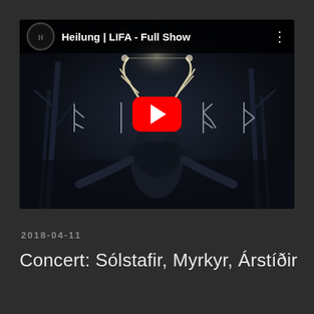[Figure (screenshot): YouTube video thumbnail for 'Heilung | LIFA - Full Show'. Shows a dark atmospheric image of a figure with antlers/horns raised against a dim forest background, with runic symbols on either side. A red YouTube play button is centered on the image. The video bar at top shows the Heilung channel icon and the video title.]
2018-04-11
Concert: Sólstafir, Myrkyr, Árstíðir